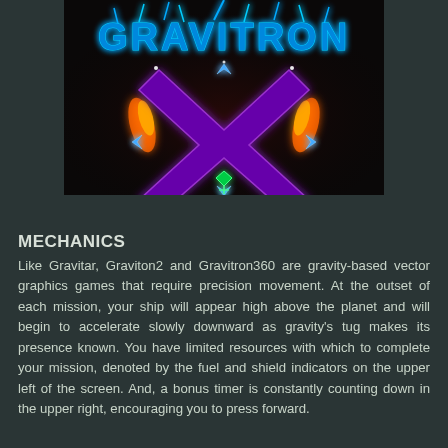[Figure (screenshot): Game logo/title screen for 'Gravitron X' — neon glowing text spelling GRAVITRON at the top in blue, with a large purple X below it surrounded by neon orange, blue, and green glowing accents, all on a dark background.]
MECHANICS
Like Gravitar, Graviton2 and Gravitron360 are gravity-based vector graphics games that require precision movement. At the outset of each mission, your ship will appear high above the planet and will begin to accelerate slowly downward as gravity's tug makes its presence known. You have limited resources with which to complete your mission, denoted by the fuel and shield indicators on the upper left of the screen. And, a bonus timer is constantly counting down in the upper right, encouraging you to press forward.